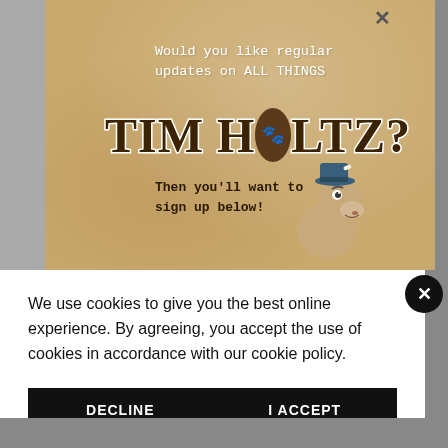[Figure (illustration): Banner image with tan/kraft paper background showing text 'Would you like regular updates on ALL THINGS TIM HOLTZ?' with a cartoon horse mascot wearing a hat, in a popup/modal overlay]
We use cookies to give you the best online experience. By agreeing, you accept the use of cookies in accordance with our cookie policy.
DECLINE
I ACCEPT
Privacy Policy   Cookie Policy